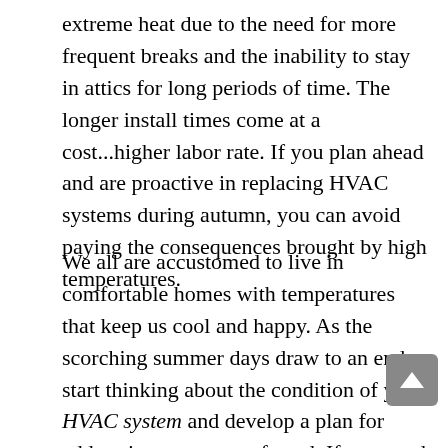extreme heat due to the need for more frequent breaks and the inability to stay in attics for long periods of time.  The longer install times come at a cost...higher labor rate.  If you plan ahead and are proactive in replacing HVAC systems during autumn, you can avoid paying the consequences brought by high temperatures.
We all are accustomed to live in comfortable homes with temperatures that keep us cool and happy. As the scorching summer days draw to an end, start thinking about the condition of your HVAC system and develop a plan for addressing any areas of need.  If you need professional help understanding the current condition of your HVAC system or in purchasing the perfect HVAC system for your McKinney home, let Classic Heating & Air help!  For more information,